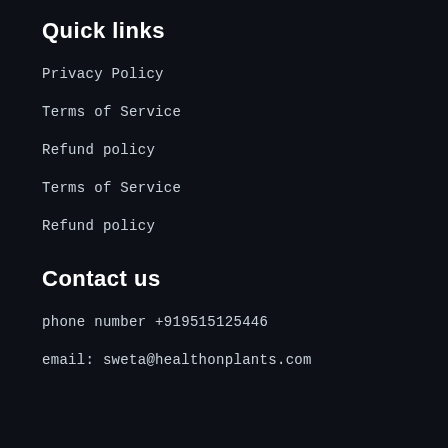Quick links
Privacy Policy
Terms of Service
Refund policy
Terms of Service
Refund policy
Contact us
phone number +919515125446
email: sweta@healthonplants.com